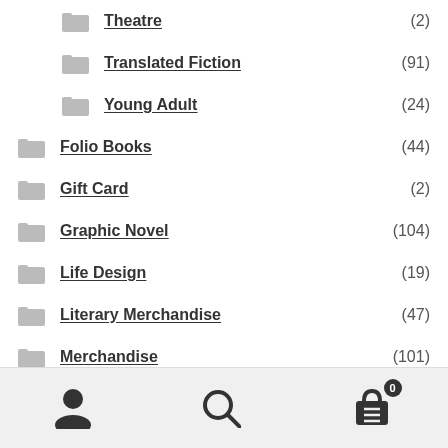Theatre (2)
Translated Fiction (91)
Young Adult (24)
Folio Books (44)
Gift Card (2)
Graphic Novel (104)
Life Design (19)
Literary Merchandise (47)
Merchandise (101)
Non-Fiction (825)
Periodicals (14)
Poetry (79)